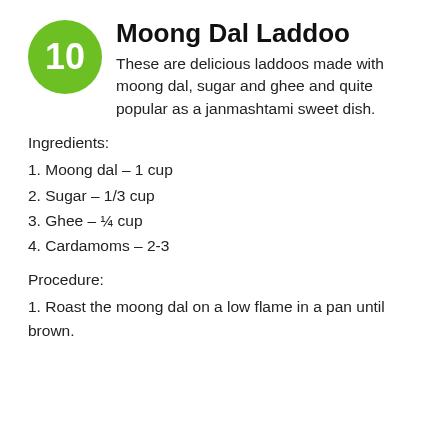Moong Dal Laddoo
These are delicious laddoos made with moong dal, sugar and ghee and quite popular as a janmashtami sweet dish.
Ingredients:
1. Moong dal – 1 cup
2. Sugar – 1/3 cup
3. Ghee – ¼ cup
4. Cardamoms – 2-3
Procedure:
1. Roast the moong dal on a low flame in a pan until brown.